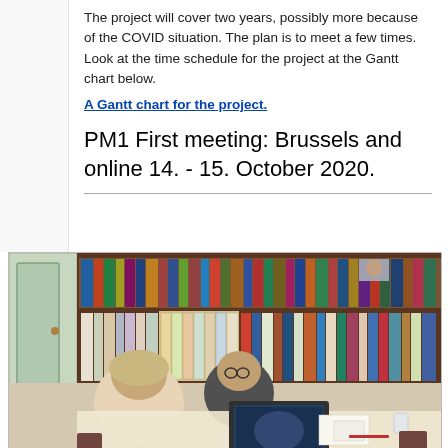The project will cover two years, possibly more because of the COVID situation. The plan is to meet a few times. Look at the time schedule for the project at the Gantt chart below.
A Gantt chart for the project.
PM1 First meeting: Brussels and online 14. - 15. October 2020.
[Figure (photo): Two people sitting at a library table with a laptop open, surrounded by bookshelves filled with books and binders. One person appears to be presenting something on the laptop screen.]